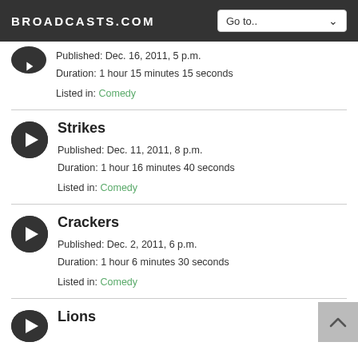BROADCASTS.COM
Published: Dec. 16, 2011, 5 p.m.
Duration: 1 hour 15 minutes 15 seconds
Listed in: Comedy
Strikes
Published: Dec. 11, 2011, 8 p.m.
Duration: 1 hour 16 minutes 40 seconds
Listed in: Comedy
Crackers
Published: Dec. 2, 2011, 6 p.m.
Duration: 1 hour 6 minutes 30 seconds
Listed in: Comedy
Lions